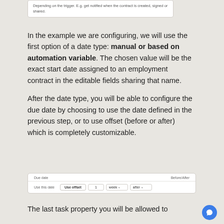[Figure (screenshot): UI screenshot showing text: 'Depending on the trigger. E.g. get notified when the contract is created, signed or shared.']
In the example we are configuring, we will use the first option of a date type: manual or based on automation variable. The chosen value will be the exact start date assigned to an employment contract in the editable fields sharing that name.
After the date type, you will be able to configure the due date by choosing to use the date defined in the previous step, or to use offset (before or after) which is completely customizable.
[Figure (screenshot): UI form showing Due date options: 'Use this date' and 'Use offset' buttons, and Before/After fields with '1', 'week', 'after' dropdowns.]
The last task property you will be allowed to